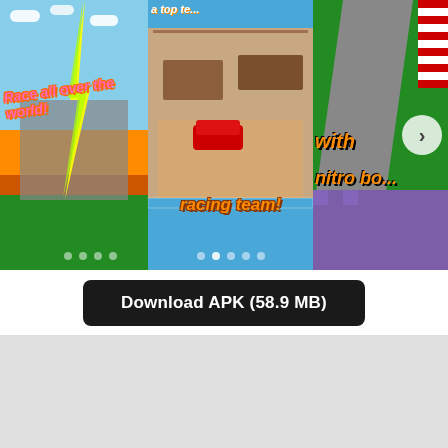[Figure (screenshot): App store screenshot carousel showing a pixel-art kart racing game. Left panel shows colorful race tracks with text 'Race all over the world!'. Center panel shows racing team management screen with 'racing team!' text. Right panel shows race track with 'with nitro boo...' text and a navigation arrow.]
Download APK (58.9 MB)